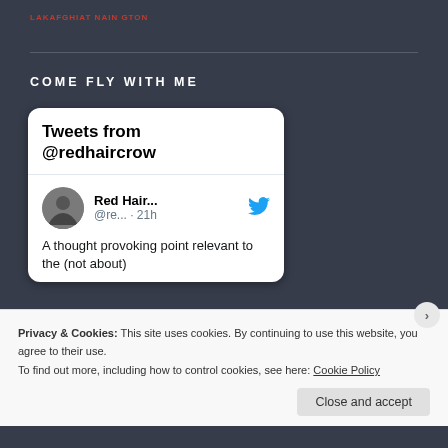COME FLY WITH ME
COME FLY WITH ME
[Figure (screenshot): Twitter widget showing tweets from @redhaircrow. Profile picture of Red Hair... (@re...) with Twitter bird icon, posted 21h ago. Tweet text: 'A thought provoking point relevant to the (not about)']
Privacy & Cookies: This site uses cookies. By continuing to use this website, you agree to their use.
To find out more, including how to control cookies, see here: Cookie Policy
Close and accept